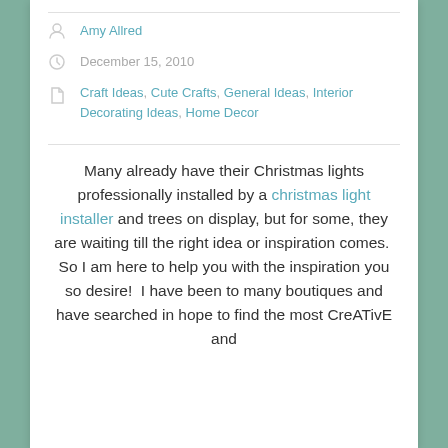Amy Allred
December 15, 2010
Craft Ideas, Cute Crafts, General Ideas, Interior Decorating Ideas, Home Decor
Many already have their Christmas lights professionally installed by a christmas light installer and trees on display, but for some, they are waiting till the right idea or inspiration comes.  So I am here to help you with the inspiration you so desire!  I have been to many boutiques and have searched in hope to find the most CreATivE and